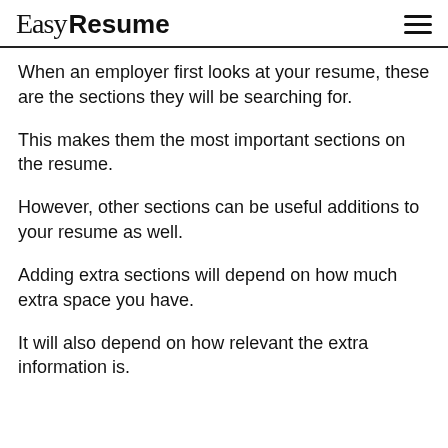Easy Resume
When an employer first looks at your resume, these are the sections they will be searching for.
This makes them the most important sections on the resume.
However, other sections can be useful additions to your resume as well.
Adding extra sections will depend on how much extra space you have.
It will also depend on how relevant the extra information is.